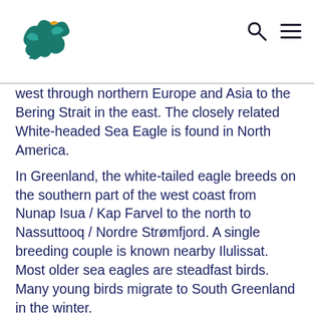[Logo: Arctic bird icon] [Search icon] [Menu icon]
west through northern Europe and Asia to the Bering Strait in the east. The closely related White-headed Sea Eagle is found in North America.
In Greenland, the white-tailed eagle breeds on the southern part of the west coast from Nunap Isua / Kap Farvel to the north to Nassuttooq / Nordre Strømfjord. A single breeding couple is known nearby Ilulissat. Most older sea eagles are steadfast birds. Many young birds migrate to South Greenland in the winter.
The white-tailed eagle breeds mainly along the coast, but also inland near lakes and rivers. The nest is built on mountain ledges or on a smaller peak with a good view. The white-tailed eagle probably migrated to Iceland and Greenland after the last ice age 5-8000